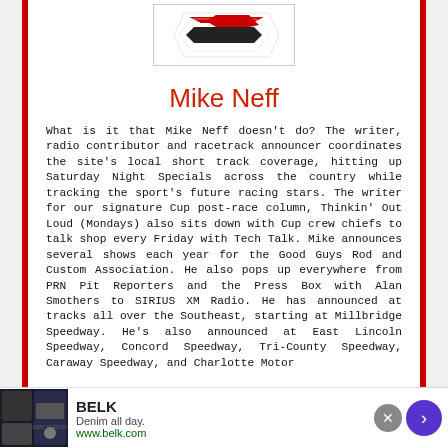[Figure (logo): Racing-related logo with red and black diagonal stripe elements on white background]
Mike Neff
What is it that Mike Neff doesn't do? The writer, radio contributor and racetrack announcer coordinates the site's local short track coverage, hitting up Saturday Night Specials across the country while tracking the sport's future racing stars. The writer for our signature Cup post-race column, Thinkin' Out Loud (Mondays) also sits down with Cup crew chiefs to talk shop every Friday with Tech Talk. Mike announces several shows each year for the Good Guys Rod and Custom Association. He also pops up everywhere from PRN Pit Reporters and the Press Box with Alan Smothers to SIRIUS XM Radio. He has announced at tracks all over the Southeast, starting at Millbridge Speedway. He's also announced at East Lincoln Speedway, Concord Speedway, Tri-County Speedway, Caraway Speedway, and Charlotte Motor